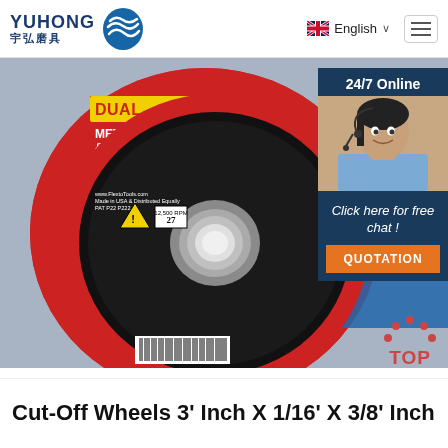YUHONG 宇弘磨具 — English navigation
[Figure (photo): Cut-off/grinding disc (DUAL Metal Cutting & Grinding) sitting on red/blue packaging, with chains and technical label details visible. Black abrasive disc with silver arbor hole center.]
24/7 Online
Click here for free chat !
QUOTATION
Cut-Off Wheels 3' Inch X 1/16' X 3/8' Inch